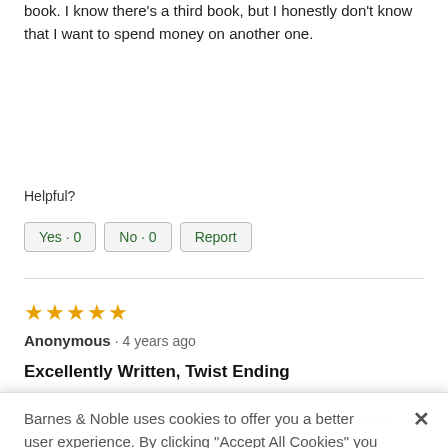book. I know there's a third book, but I honestly don't know that I want to spend money on another one.
Helpful?
Yes · 0
No · 0
Report
★★★★★
Anonymous · 4 years ago
Excellently Written, Twist Ending
Barnes & Noble uses cookies to offer you a better user experience. By clicking "Accept All Cookies" you agree to the storing of cookies on your device in accordance with our Cookie Policy
Manage Preferences
Accept All Cookies